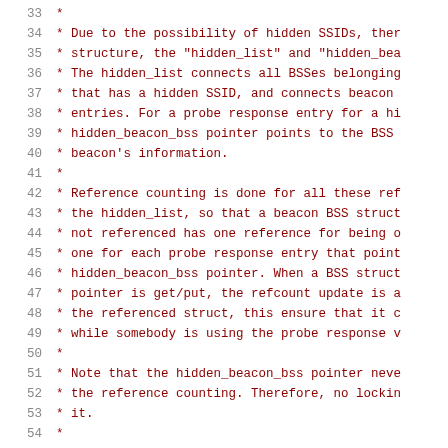Source code comment block, lines 33-54, describing hidden SSID BSS structure and reference counting in a wireless networking driver.